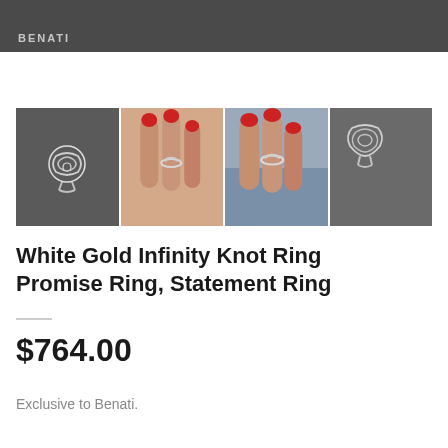BENATI
[Figure (photo): Four product photos of a White Gold Infinity Knot Ring: one on dark background showing ring alone, two showing ring worn on hand with red nails, and one showing ring from different angle on dark background.]
White Gold Infinity Knot Ring Promise Ring, Statement Ring
$764.00
Exclusive to Benati.